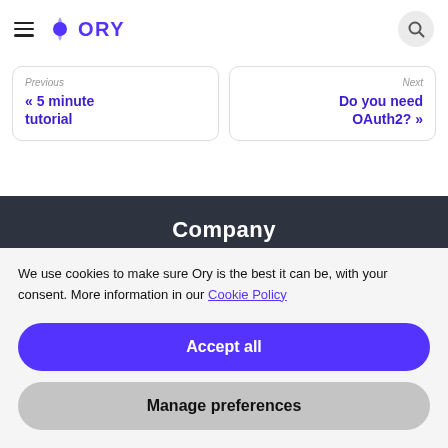Ory (navigation header with hamburger menu and search icon)
Previous
« 5 minute tutorial
Next
Do you need OAuth2? »
Company
We use cookies to make sure Ory is the best it can be, with your consent. More information in our Cookie Policy
Accept all
Manage preferences